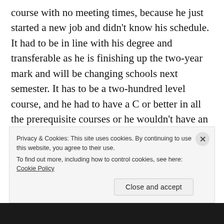course with no meeting times, because he just started a new job and didn't know his schedule. It had to be in line with his degree and transferable as he is finishing up the two-year mark and will be changing schools next semester. It has to be a two-hundred level course, and he had to have a C or better in all the prerequisite courses or he wouldn't have an Associate's Degree when he makes the change. Lastly, it has to have a totally non-understandable title, because his counselor is a known sadist, and made him take two quarters of Sanskrit, just because he feels like torturing teenagers
Privacy & Cookies: This site uses cookies. By continuing to use this website, you agree to their use.
To find out more, including how to control cookies, see here: Cookie Policy
Close and accept